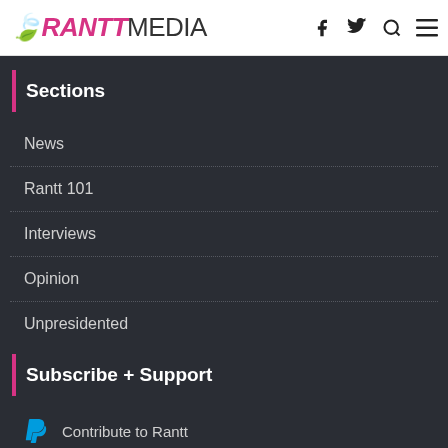RANTT MEDIA
Sections
News
Rantt 101
Interviews
Opinion
Unpresidented
Subscribe + Support
Contribute to Rantt
Subscribe to Rantt